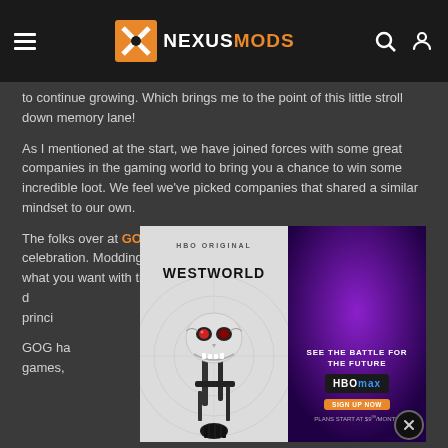NEXUSMODS
to continue growing. Which brings me to the point of this little stroll down memory lane!
As I mentioned at the start, we have joined forces with some great companies in the gaming world to bring you a chance to win some incredible loot. We feel we've picked companies that shared a similar mindset to our own.
The folks over at GOG.com were immediately on board with this celebration. Modding wouldn't be possible without the freedom to do what you want with the games you own, and it's a great way to [... That's a principle [...] n. This includes [...]
GOG ha[...] of games, [...]
[Figure (advertisement): Westworld HBO Max advertisement overlay with skull robot imagery on left (black and white) and HBO Max promotional content on right (purple background) with close button]